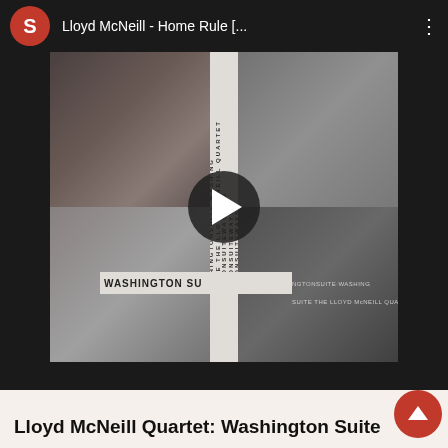[Figure (screenshot): YouTube video player card showing Lloyd McNeill - Home Rule album. Top bar has red avatar with 'S', video title 'Lloyd McNeill - Home Rule [...]', and three-dot menu. Center shows album cover for 'Washington Suite' by Lloyd McNeill Quartet — a black-and-white 2x2 grid of musician portraits with a play button overlay.]
Lloyd McNeill Quartet: Washington Suite